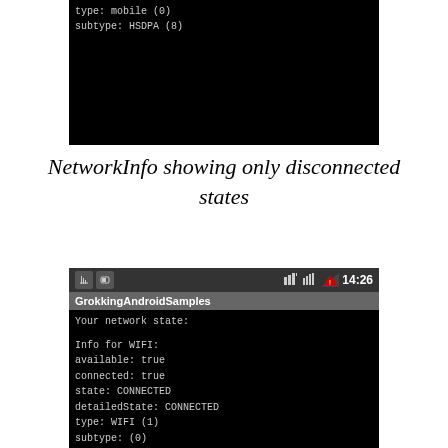[Figure (screenshot): Android device screenshot (top portion) showing black screen with text: type: mobile (0), subtype: HSDPA (8)]
NetworkInfo showing only disconnected states
[Figure (screenshot): Android device screenshot showing GrokkingAndroidSamples app with network state info: WIFI connected, MOBILE disconnected. Info for WIFI: available: true, connected: true, state: CONNECTED, detailedState: CONNECTED, type: WIFI (1), subtype: (0). Info for MOBILE: available: true, connected: false, state: DISCONNECTED, detailedState: DISCONNECTED, type: mobile (0), subtype: HSDPA (8)]